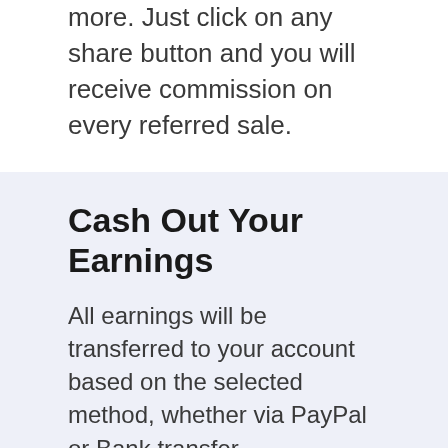more. Just click on any share button and you will receive commission on every referred sale.
Cash Out Your Earnings
All earnings will be transferred to your account based on the selected method, whether via PayPal or Bank transfer.
The minimum amount to cash out via PayPal : USD 50.00